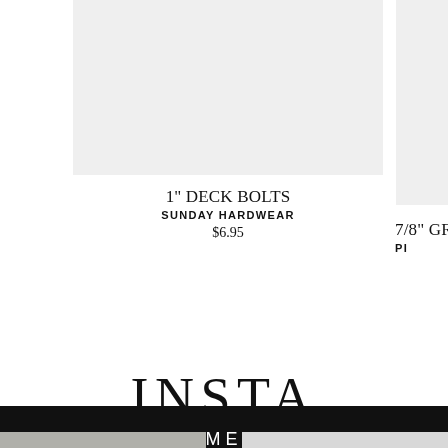[Figure (photo): Product image placeholder for 1 inch deck bolts, light grey background]
1" DECK BOLTS
SUNDAY HARDWEAR
$6.95
[Figure (photo): Partial product image placeholder for 7/8 inch grips, light grey background]
7/8" GR...
PI...
INSTA
≡ MENU